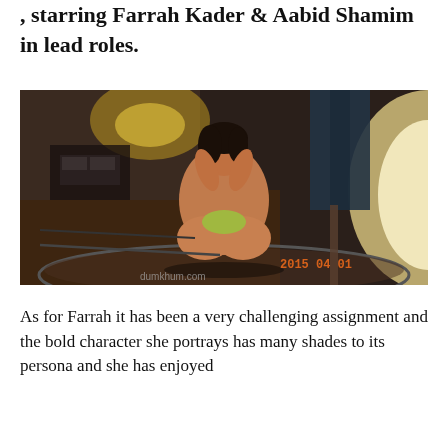, starring Farrah Kader & Aabid Shamim in lead roles.
[Figure (photo): A woman sitting cross-legged on what appears to be a circular stage or platform in a dimly lit room. She has dark hair and is posing with her hands near her face. The image has a timestamp '2015 04 01' in orange text at the bottom right, and a watermark 'dumkhum.com' at the bottom center. The background shows furniture and a bright light source on the right side.]
As for Farrah it has been a very challenging assignment and the bold character she portrays has many shades to its persona and she has enjoyed